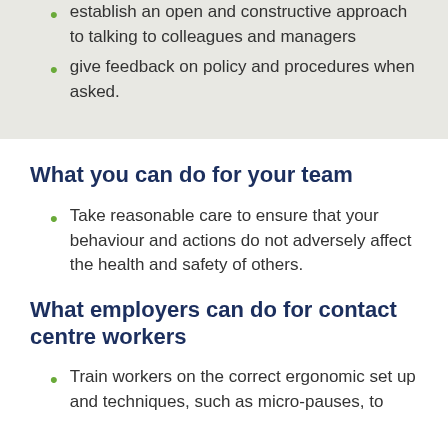establish an open and constructive approach to talking to colleagues and managers
give feedback on policy and procedures when asked.
What you can do for your team
Take reasonable care to ensure that your behaviour and actions do not adversely affect the health and safety of others.
What employers can do for contact centre workers
Train workers on the correct ergonomic set up and techniques, such as micro-pauses, to